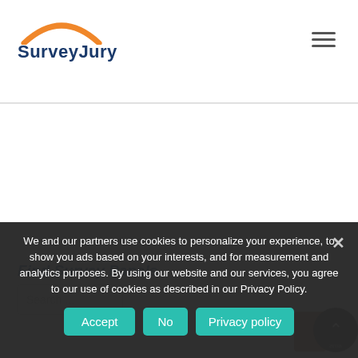SurveyJury
We and our partners use cookies to personalize your experience, to show you ads based on your interests, and for measurement and analytics purposes. By using our website and our services, you agree to our use of cookies as described in our Privacy Policy.
Find Survey Panels
Search ...